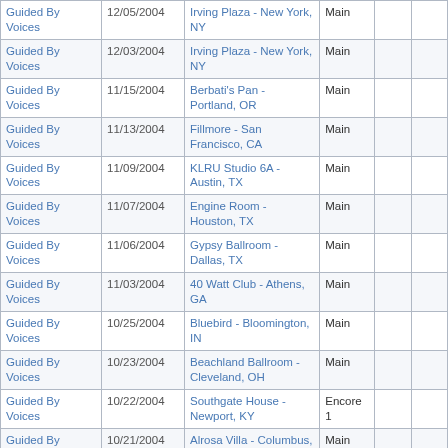| Artist | Date | Venue | Set |  |  |
| --- | --- | --- | --- | --- | --- |
| Guided By Voices | 12/05/2004 | Irving Plaza - New York, NY | Main |  |  |
| Guided By Voices | 12/03/2004 | Irving Plaza - New York, NY | Main |  |  |
| Guided By Voices | 11/15/2004 | Berbati's Pan - Portland, OR | Main |  |  |
| Guided By Voices | 11/13/2004 | Fillmore - San Francisco, CA | Main |  |  |
| Guided By Voices | 11/09/2004 | KLRU Studio 6A - Austin, TX | Main |  |  |
| Guided By Voices | 11/07/2004 | Engine Room - Houston, TX | Main |  |  |
| Guided By Voices | 11/06/2004 | Gypsy Ballroom - Dallas, TX | Main |  |  |
| Guided By Voices | 11/03/2004 | 40 Watt Club - Athens, GA | Main |  |  |
| Guided By Voices | 10/25/2004 | Bluebird - Bloomington, IN | Main |  |  |
| Guided By Voices | 10/23/2004 | Beachland Ballroom - Cleveland, OH | Main |  |  |
| Guided By Voices | 10/22/2004 | Southgate House - Newport, KY | Encore 1 |  |  |
| Guided By Voices | 10/21/2004 | Alrosa Villa - Columbus, OH | Main |  |  |
| Guided By Voices | 09/28/2004 | Cat's Cradle - Carrboro, NC | Main |  |  |
| Guided By Voices | 09/22/2004 | Pageant - St. Louis, MO | Main |  |  |
| Guided By Voices | 09/11/2004 | 9:30 Club - Washington, DC | Main |  |  |
| Guided By Voices | 09/10/2004 | Theater Of The Living Arts - Philadelphia, PA | Main |  |  |